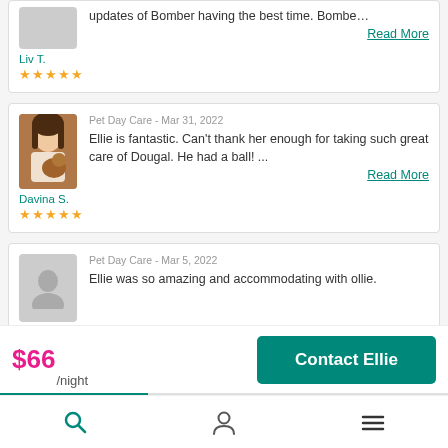updates of Bomber having the best time. Bombe…
Read More
Liv T.
★★★★★
Pet Day Care - Mar 31, 2022
Ellie is fantastic. Can't thank her enough for taking such great care of Dougal. He had a ball! ...
Read More
Davina S.
★★★★★
Pet Day Care - Mar 5, 2022
Ellie was so amazing and accommodating with ollie.
Cathy F.
★★★★
$66/night
Contact Ellie